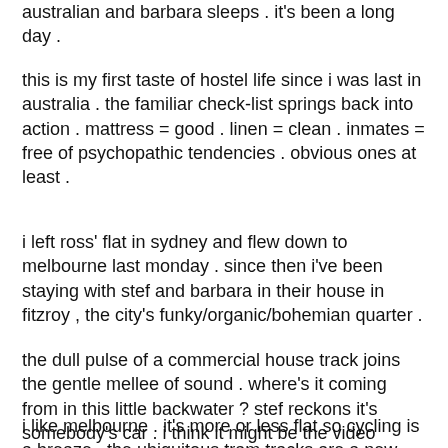australian and barbara sleeps . it's been a long day .
this is my first taste of hostel life since i was last in australia . the familiar check-list springs back into action . mattress = good . linen = clean . inmates = free of psychopathic tendencies . obvious ones at least .
i left ross' flat in sydney and flew down to melbourne last monday . since then i've been staying with stef and barbara in their house in fitzroy , the city's funky/organic/bohemian quarter .
the dull pulse of a commercial house track joins the gentle mellee of sound . where's it coming from in this little backwater ? stef reckons it's somebody's car . i think it might be the video jukebox in the pub we visited earlier .
i like melbourne . it's more or less flat so cycling is a breaze . the ubiquitous tram tracks are a new challenge though . the